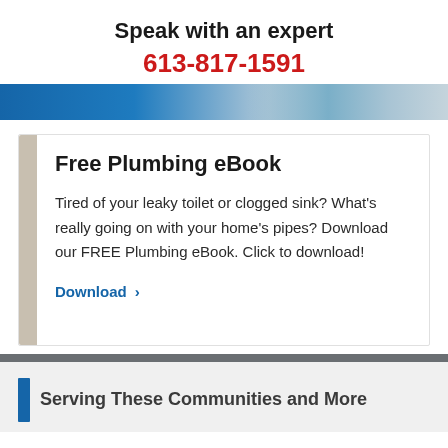Speak with an expert
613-817-1591
[Figure (photo): Blue banner with plumbing-related hero image]
Free Plumbing eBook
Tired of your leaky toilet or clogged sink? What's really going on with your home's pipes? Download our FREE Plumbing eBook. Click to download!
Download >
Serving These Communities and More